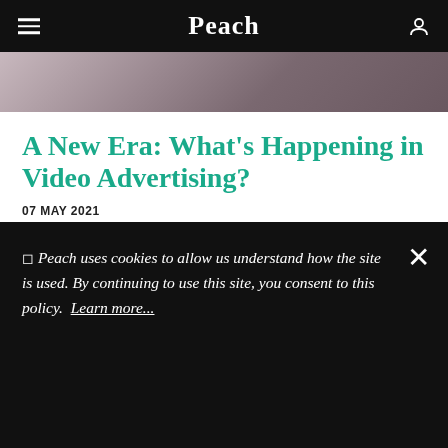Peach
[Figure (photo): Partial hero image showing people, cropped at top of article page]
A New Era: What's Happening in Video Advertising?
07 MAY 2021
Amidst a whirlwind of changes in TV and video advertising, we speak with experts from across the industry to find out what's happening, and what it means for marketers...
🍪 Peach uses cookies to allow us understand how the site is used. By continuing to use this site, you consent to this policy. Learn more...